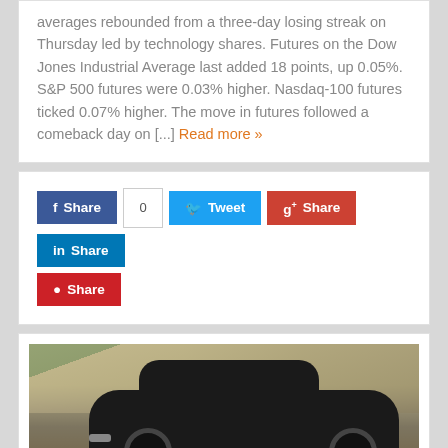averages rebounded from a three-day losing streak on Thursday led by technology shares. Futures on the Dow Jones Industrial Average last added 18 points, up 0.05%. S&P 500 futures were 0.03% higher. Nasdaq-100 futures ticked 0.07% higher. The move in futures followed a comeback day on [...] Read more »
[Figure (infographic): Social share buttons: Facebook Share with count 0, Twitter Tweet, Google+ Share, LinkedIn Share, Pinterest Share]
[Figure (photo): Photo of a dark/black sports car (appears to be a Lamborghini or similar) on display at an auto show, with green race car partially visible on left and showroom/exhibition hall background]